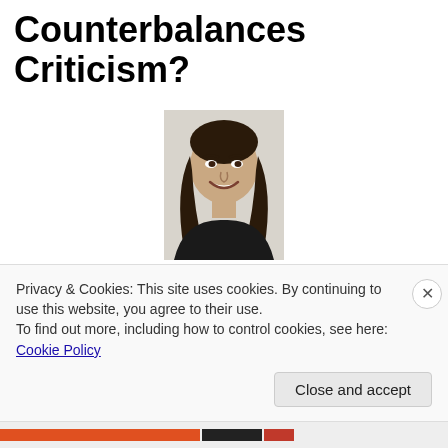Counterbalances Criticism?
[Figure (photo): Headshot photo of Sandra Mashihi, a woman with long dark hair, smiling, wearing dark clothing against a light background.]
Sandra Mashihi
Does 360-degree feedback do more harm than good? Envisia's Kenneth Nowack and Sandra Mashihi provided
Privacy & Cookies: This site uses cookies. By continuing to use this website, you agree to their use.
To find out more, including how to control cookies, see here: Cookie Policy